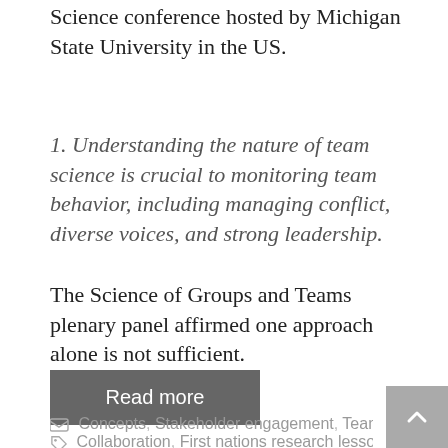Science conference hosted by Michigan State University in the US.
1. Understanding the nature of team science is crucial to monitoring team behavior, including managing conflict, diverse voices, and strong leadership.
The Science of Groups and Teams plenary panel affirmed one approach alone is not sufficient.
Read more
Concepts, Stakeholder engagement, Teamwork
Collaboration, First nations research lessons,